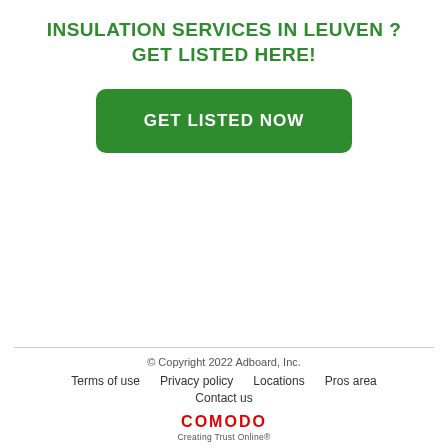INSULATION SERVICES IN LEUVEN ?
GET LISTED HERE!
[Figure (other): Large green rounded-rectangle button with white bold uppercase text: GET LISTED NOW]
© Copyright 2022 Adboard, Inc.
Terms of use   Privacy policy   Locations   Pros area
Contact us
COMODO Creating Trust Online®